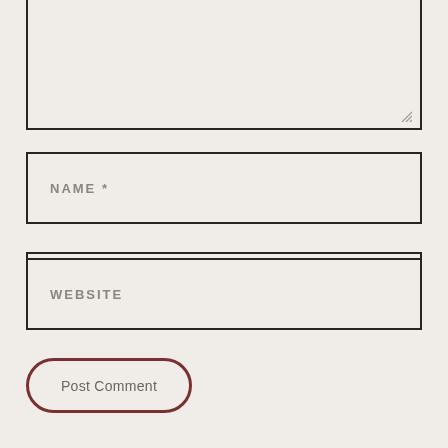[Figure (screenshot): A comment form with a large textarea (partially visible at top), three input fields labeled NAME *, EMAIL *, and WEBSITE, and a Post Comment button with rounded border.]
NAME *
EMAIL *
WEBSITE
Post Comment